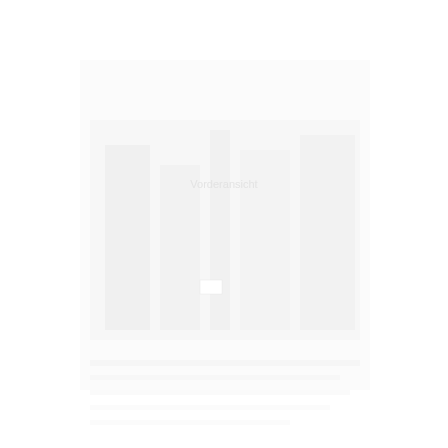[Figure (photo): A very faint, nearly white image showing what appears to be a building or architectural scene with some text watermark in the center-upper area. The image is extremely low contrast against the white background.]